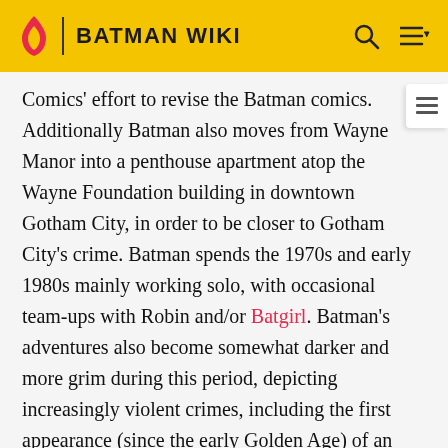BATMAN WIKI
Comics' effort to revise the Batman comics. Additionally Batman also moves from Wayne Manor into a penthouse apartment atop the Wayne Foundation building in downtown Gotham City, in order to be closer to Gotham City's crime. Batman spends the 1970s and early 1980s mainly working solo, with occasional team-ups with Robin and/or Batgirl. Batman's adventures also become somewhat darker and more grim during this period, depicting increasingly violent crimes, including the first appearance (since the early Golden Age) of an insane, murderous Joker, and the arrival of Ra's Al Ghul. In the 1980s, Dick Grayson becomes Nightwing.
In the final issue of Brave and the Bold in 1983, Batman